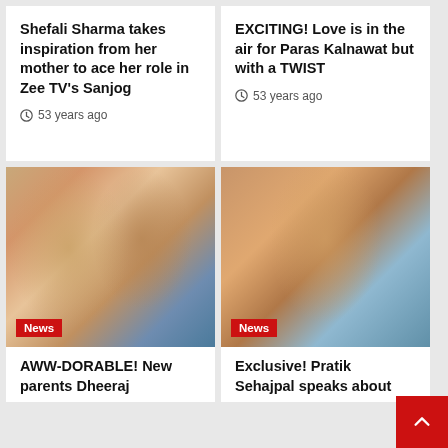Shefali Sharma takes inspiration from her mother to ace her role in Zee TV’s Sanjog
53 years ago
EXCITING! Love is in the air for Paras Kalnawat but with a TWIST
53 years ago
[Figure (photo): Couple photo: woman with white flower in hair, man wearing hat and sunglasses, blue top, with News badge]
[Figure (photo): Shirtless young man looking at camera, outdoor background with buildings, with News badge]
AWW-DORABLE! New parents Dheeraj
Exclusive! Pratik Sehajpal speaks about